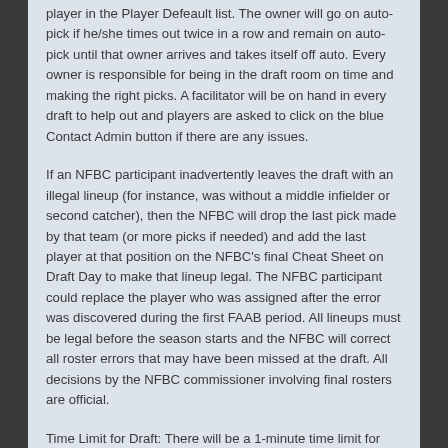player in the Player Defeault list. The owner will go on auto-pick if he/she times out twice in a row and remain on auto-pick until that owner arrives and takes itself off auto. Every owner is responsible for being in the draft room on time and making the right picks. A facilitator will be on hand in every draft to help out and players are asked to click on the blue Contact Admin button if there are any issues.
If an NFBC participant inadvertently leaves the draft with an illegal lineup (for instance, was without a middle infielder or second catcher), then the NFBC will drop the last pick made by that team (or more picks if needed) and add the last player at that position on the NFBC's final Cheat Sheet on Draft Day to make that lineup legal. The NFBC participant could replace the player who was assigned after the error was discovered during the first FAAB period. All lineups must be legal before the season starts and the NFBC will correct all roster errors that may have been missed at the draft. All decisions by the NFBC commissioner involving final rosters are official.
Time Limit for Draft: There will be a 1-minute time limit for each owner to make his/her pick during each round of the Rotowire Online Championship draft. If a participant does not make a selection in the allotted time online, that pick is auto-picked as discussed above. In the event that a participant selects a player